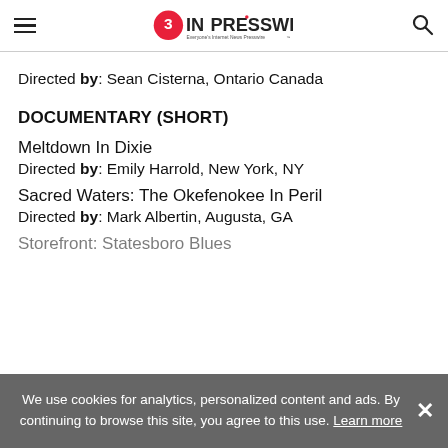EIN Presswire — Everyone's Internet News Presswire
Directed by: Sean Cisterna, Ontario Canada
DOCUMENTARY (SHORT)
Meltdown In Dixie
Directed by: Emily Harrold, New York, NY
Sacred Waters: The Okefenokee In Peril
Directed by: Mark Albertin, Augusta, GA
Storefront: Statesboro Blues
We use cookies for analytics, personalized content and ads. By continuing to browse this site, you agree to this use. Learn more